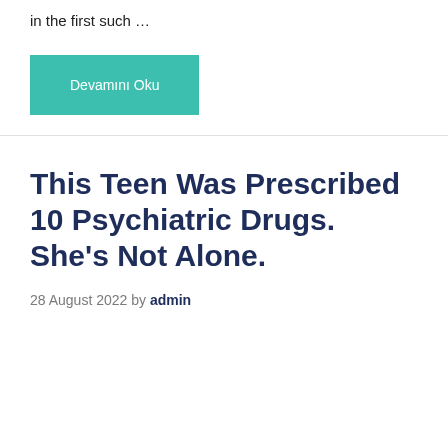in the first such …
Devamını Oku
This Teen Was Prescribed 10 Psychiatric Drugs. She's Not Alone.
28 August 2022 by admin